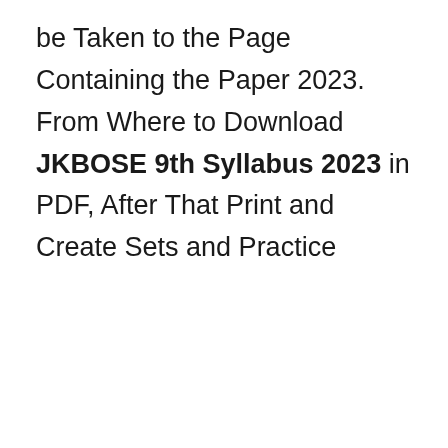be Taken to the Page Containing the Paper 2023. From Where to Download JKBOSE 9th Syllabus 2023 in PDF, After That Print and Create Sets and Practice